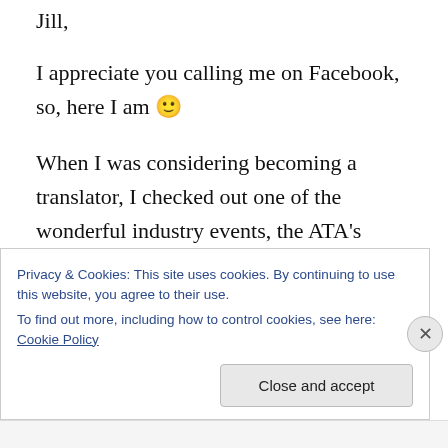Jill,
I appreciate you calling me on Facebook, so, here I am 🙂
When I was considering becoming a translator, I checked out one of the wonderful industry events, the ATA's language specific mid-year conference in beautiful Fort Lauderdale, FL.
The atmosphere was great, the colleagues-to-be really knowledgeable and it was a small
Privacy & Cookies: This site uses cookies. By continuing to use this website, you agree to their use.
To find out more, including how to control cookies, see here: Cookie Policy